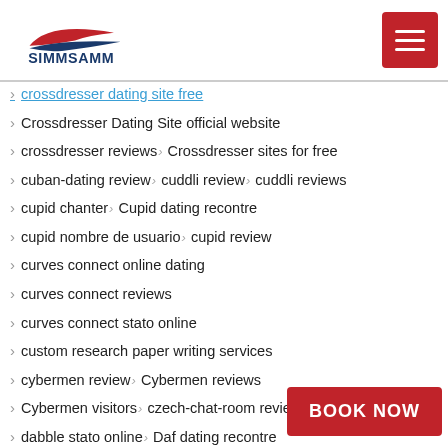SIMMSAMM
crossdresser dating site free
Crossdresser Dating Site official website
crossdresser reviews > Crossdresser sites for free
cuban-dating review > cuddli review > cuddli reviews
cupid chanter > Cupid dating recontre
cupid nombre de usuario > cupid review
curves connect online dating
curves connect reviews
curves connect stato online
custom research paper writing services
cybermen review > Cybermen reviews
Cybermen visitors > czech-chat-room review
dabble stato online > Daf dating recontre
daf meezingen > dallas-dating review
dallas-personals review > daly city reviews
Date Me dating recontre > D...
date me review > date me r...